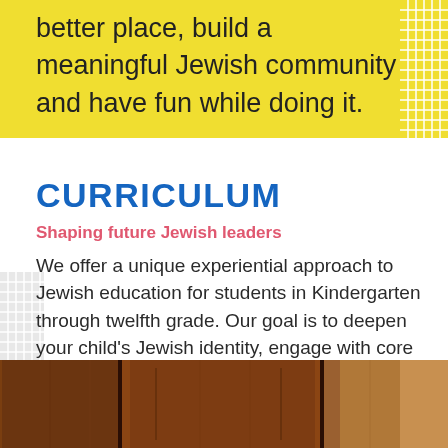better place, build a meaningful Jewish community and have fun while doing it.
CURRICULUM
Shaping future Jewish leaders
We offer a unique experiential approach to Jewish education for students in Kindergarten through twelfth grade. Our goal is to deepen your child's Jewish identity, engage with core Jewish values and traditions, and become part of a community, practicing Tikkun Olam through our social action initiatives.
[Figure (photo): Wooden paneled wall or cabinet, brown tones, bottom of page]